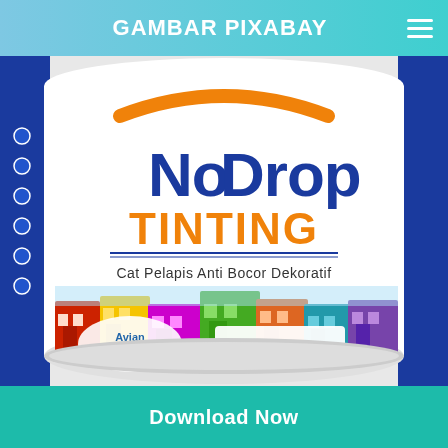GAMBAR PIXABAY
[Figure (photo): Close-up photo of a white paint can labeled 'No Drop TINTING - Cat Pelapis Anti Bocor Dekoratif' by Avian Brands, with colorful illustrated buildings on the label]
Download Now